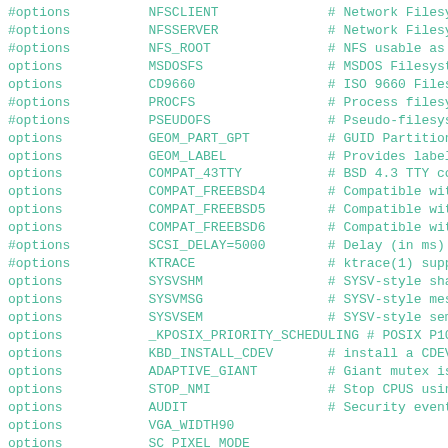#options	NFSCLIENT	# Network Filesystem
#options	NFSSERVER	# Network Filesystem
#options	NFS_ROOT	# NFS usable as /, r
options	MSDOSFS		# MSDOS Filesystem
options	CD9660		# ISO 9660 Filesyste
#options	PROCFS		# Process filesystem
#options	PSEUDOFS	# Pseudo-filesystem
options	GEOM_PART_GPT	# GUID Partition Tab
options	GEOM_LABEL	# Provides labelizat
options	COMPAT_43TTY	# BSD 4.3 TTY compat
options	COMPAT_FREEBSD4	# Compatible with Fr
options	COMPAT_FREEBSD5	# Compatible with Fr
options	COMPAT_FREEBSD6	# Compatible with Fr
#options	SCSI_DELAY=5000	# Delay (in ms) befo
#options	KTRACE		# ktrace(1) support
options	SYSVSHM		# SYSV-style shared
options	SYSVMSG		# SYSV-style message
options	SYSVSEM		# SYSV-style semapho
options	_KPOSIX_PRIORITY_SCHEDULING # POSIX P1003_1B
options	KBD_INSTALL_CDEV	# install a CDEV ent
options	ADAPTIVE_GIANT	# Giant mutex is ada
options	STOP_NMI	# Stop CPUS using NM
options	AUDIT		# Security event aud
options	VGA_WIDTH90
options	SC_PIXEL_MODE
options	VESA
options	SC_NORM_ATTR=(FG_GREEN|BG_BLACK)
options	SC_KERNEL_CONS_ATTR=(FG_YELLOW|BG_BLACK)
options	SUIDDIR
options	LIBICONV